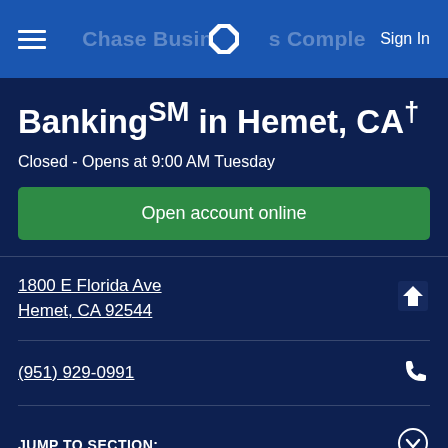Chase Business Complete Banking℠ in Hemet, CA
Banking℠ in Hemet, CA†
Closed - Opens at 9:00 AM Tuesday
Open account online
1800 E Florida Ave
Hemet, CA 92544
(951) 929-0991
JUMP TO SECTION: